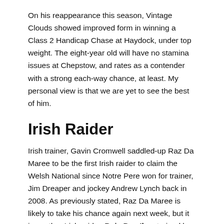On his reappearance this season, Vintage Clouds showed improved form in winning a Class 2 Handicap Chase at Haydock, under top weight. The eight-year old will have no stamina issues at Chepstow, and rates as a contender with a strong each-way chance, at least. My personal view is that we are yet to see the best of him.
Irish Raider
Irish trainer, Gavin Cromwell saddled-up Raz Da Maree to be the first Irish raider to claim the Welsh National since Notre Pere won for trainer, Jim Dreaper and jockey Andrew Lynch back in 2008. As previously stated, Raz Da Maree is likely to take his chance again next week, but it is another Irish raider, Baie Des Iles, trained by